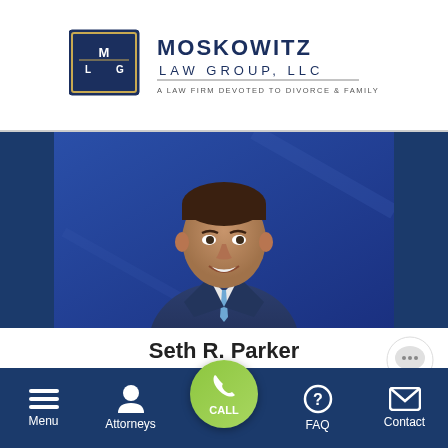[Figure (logo): Moskowitz Law Group LLC logo with MLG shield emblem and tagline: A LAW FIRM DEVOTED TO DIVORCE & FAMILY LAW MATTERS]
[Figure (photo): Professional headshot photo of Seth R. Parker, a young male attorney in a suit, smiling, blue background]
Seth R. Parker
Associate Attorney
[Figure (screenshot): Mobile navigation bar showing Menu, Attorneys, CALL (green phone button), FAQ, Contact icons]